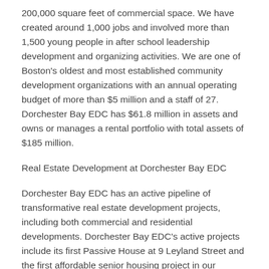200,000 square feet of commercial space. We have created around 1,000 jobs and involved more than 1,500 young people in after school leadership development and organizing activities. We are one of Boston's oldest and most established community development organizations with an annual operating budget of more than $5 million and a staff of 27. Dorchester Bay EDC has $61.8 million in assets and owns or manages a rental portfolio with total assets of $185 million.
Real Estate Development at Dorchester Bay EDC
Dorchester Bay EDC has an active pipeline of transformative real estate development projects, including both commercial and residential developments. Dorchester Bay EDC's active projects include its first Passive House at 9 Leyland Street and the first affordable senior housing project in our neighborhood, as well as Columbia Crossing, a joint venture project that will catalyze the revitalization of Upham's Corner into an Arts and Innovation District. Dorchester Bay EDC has recently completed the Indigo Block, along with two partners, on a vacant, 2.7-acre site adjacent to the Upham's